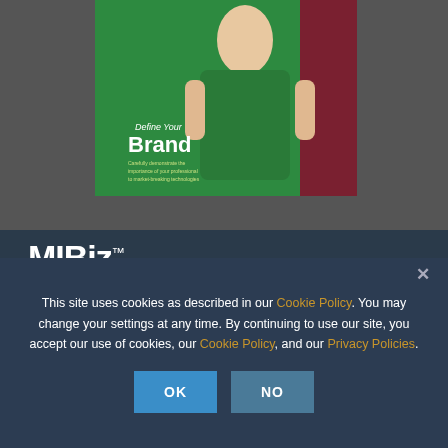[Figure (photo): Photo of a woman in a green dress standing in front of a sign that reads 'Define Your Brand' with subtitle text about professional branding. Dark gray background framing the photo.]
[Figure (logo): MIBiz logo in white bold text with TM superscript, on a dark navy background]
This site uses cookies as described in our Cookie Policy. You may change your settings at any time. By continuing to use our site, you accept our use of cookies, our Cookie Policy, and our Privacy Policies.